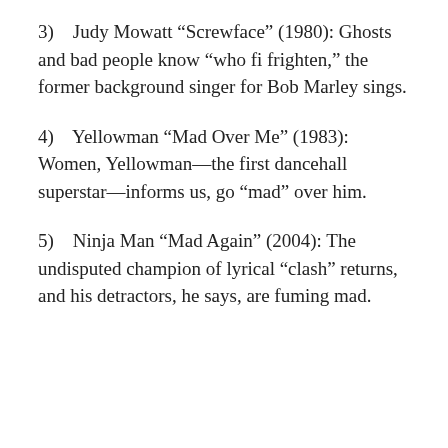3)    Judy Mowatt “Screwface” (1980): Ghosts and bad people know “who fi frighten,” the former background singer for Bob Marley sings.
4)    Yellowman “Mad Over Me” (1983): Women, Yellowman—the first dancehall superstar—informs us, go “mad” over him.
5)    Ninja Man “Mad Again” (2004): The undisputed champion of lyrical “clash” returns, and his detractors, he says, are fuming mad.